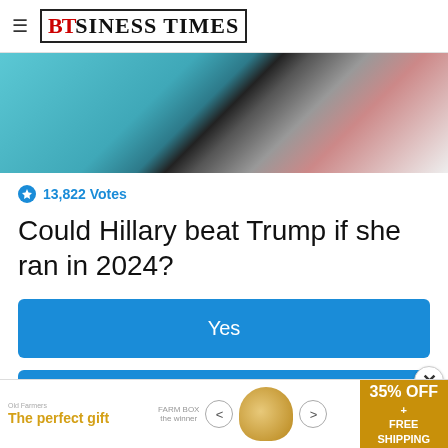BUSINESS TIMES
[Figure (photo): Close-up photo of two people, one in teal/green jacket and one in dark suit with red tie, cropped view]
13,822 Votes
Could Hillary beat Trump if she ran in 2024?
Yes
No
Not sure
[Figure (infographic): Advertisement banner: 'The perfect gift' with bowl image, navigation arrows, and '35% OFF + FREE SHIPPING' offer]